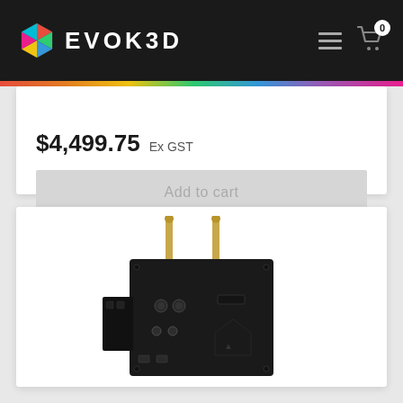EVOK3D
$4,499.75 Ex GST
Add to cart
[Figure (photo): A black electronic device with two gold antenna/pins protruding from the top. The device appears to be a wireless video transmitter or similar broadcast equipment with connectors and ports visible on its face.]